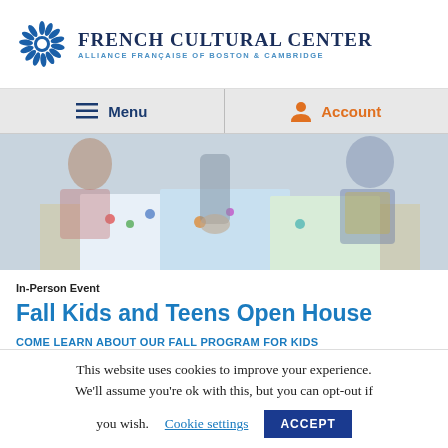FRENCH CULTURAL CENTER — ALLIANCE FRANÇAISE OF BOSTON & CAMBRIDGE
[Figure (screenshot): Navigation bar with Menu and Account buttons on gray background]
[Figure (photo): Children and teens working together at a table with colorful papers and maps, blurred background]
In-Person Event
Fall Kids and Teens Open House
COME LEARN ABOUT OUR FALL PROGRAM FOR KIDS
This website uses cookies to improve your experience. We'll assume you're ok with this, but you can opt-out if you wish.
Cookie settings  ACCEPT